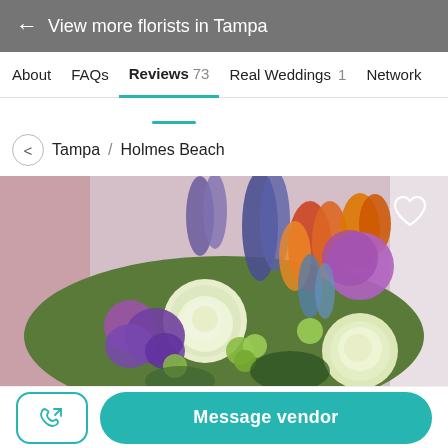← View more florists in Tampa
About  FAQs  Reviews 73  Real Weddings 1  Network
Tampa / Holmes Beach
[Figure (photo): A colorful bridal bouquet featuring white roses, purple flowers, orange tulips, green accents, and blue thistles held by a person in white]
Message vendor